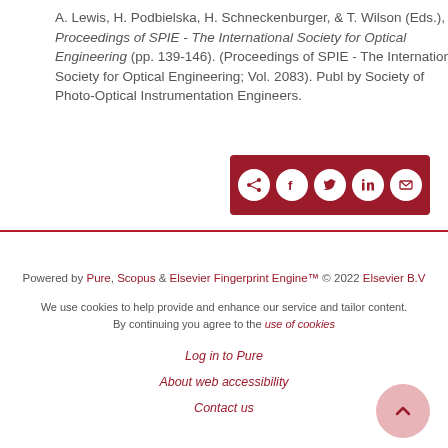A. Lewis, H. Podbielska, H. Schneckenburger, & T. Wilson (Eds.), Proceedings of SPIE - The International Society for Optical Engineering (pp. 139-146). (Proceedings of SPIE - The International Society for Optical Engineering; Vol. 2083). Publ by Society of Photo-Optical Instrumentation Engineers.
[Figure (other): Dark red share bar with icons for share, Facebook, Twitter, LinkedIn, and email]
Powered by Pure, Scopus & Elsevier Fingerprint Engine™ © 2022 Elsevier B.V

We use cookies to help provide and enhance our service and tailor content. By continuing you agree to the use of cookies

Log in to Pure

About web accessibility

Contact us